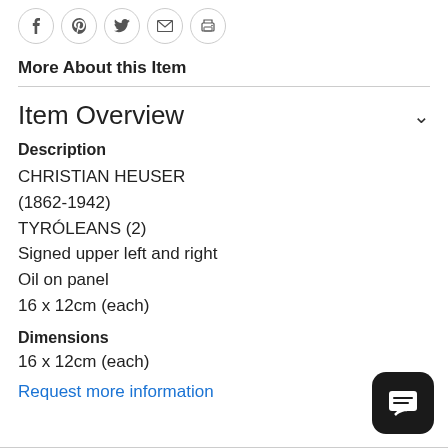[Figure (other): Social sharing icons: Facebook, Pinterest, Twitter, Email, Print — each in a circle]
More About this Item
Item Overview
Description
CHRISTIAN HEUSER
(1862-1942)
TYROLEANS (2)
Signed upper left and right
Oil on panel
16 x 12cm (each)
Dimensions
16 x 12cm (each)
Request more information